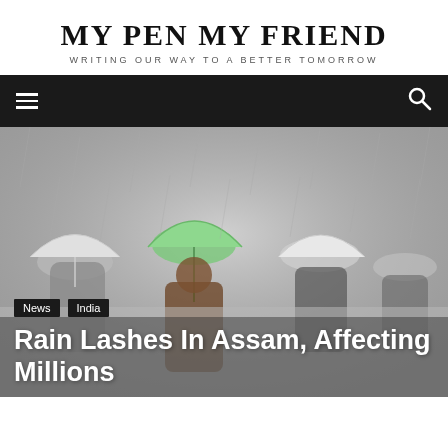MY PEN MY FRIEND
WRITING OUR WAY TO A BETTER TOMORROW
[Figure (photo): People walking in heavy rain holding umbrellas, foggy atmosphere with a green umbrella prominent in the center. Dark, rainy scene in Assam, India.]
News  India
Rain Lashes In Assam, Affecting Millions